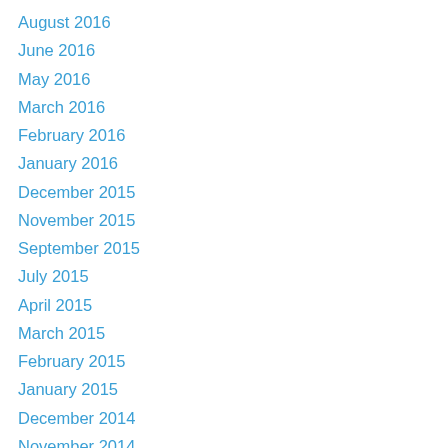August 2016
June 2016
May 2016
March 2016
February 2016
January 2016
December 2015
November 2015
September 2015
July 2015
April 2015
March 2015
February 2015
January 2015
December 2014
November 2014
October 2014
September 2014
August 2014
April 2014